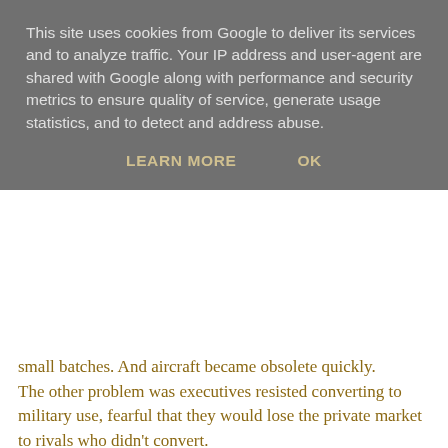This site uses cookies from Google to deliver its services and to analyze traffic. Your IP address and user-agent are shared with Google along with performance and security metrics to ensure quality of service, generate usage statistics, and to detect and address abuse.
LEARN MORE   OK
small batches. And aircraft became obsolete quickly. The other problem was executives resisted converting to military use, fearful that they would lose the private market to rivals who didn't convert.
The same was true of the UK and France. There was an astonishing array of types and vintages of aircraft in the pre war RAF, as the government handed out small orders to all the different companies to keep them in existence. The Soviet Union, after a successful five year plan, centralised planning and allocation of strategic materials, dedicated to aircraft production had produced 20,000 aircraft of all types, by 1938. Unfortunately they were not very good and were destroyed in their thousands.